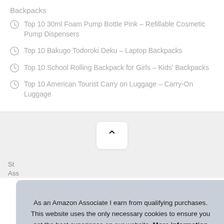Backpacks
Top 10 30ml Foam Pump Bottle Pink – Refillable Cosmetic Pump Dispensers
Top 10 Bakugo Todoroki Deku – Laptop Backpacks
Top 10 School Rolling Backpack for Girls – Kids' Backpacks
Top 10 American Tourist Carry on Luggage – Carry-On Luggage
[Figure (other): Back to top chevron up button]
As an Amazon Associate I earn from qualifying purchases. This website uses the only necessary cookies to ensure you get the best experience on our website. More information